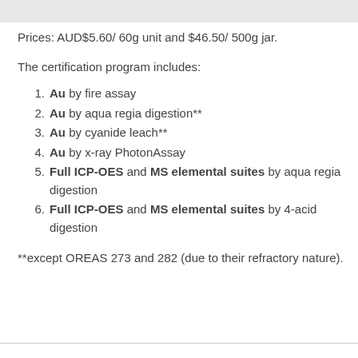Prices: AUD$5.60/ 60g unit and $46.50/ 500g jar.
The certification program includes:
Au by fire assay
Au by aqua regia digestion**
Au by cyanide leach**
Au by x-ray PhotonAssay
Full ICP-OES and MS elemental suites by aqua regia digestion
Full ICP-OES and MS elemental suites by 4-acid digestion
**except OREAS 273 and 282 (due to their refractory nature).